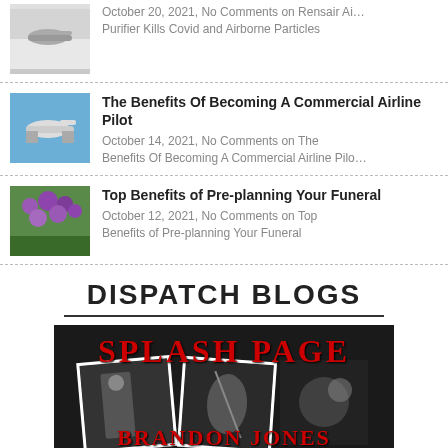October 20, 2021, No Comments on Rensair Air Purifier Kills Covid and Airborne Particles
The Benefits Of Becoming A Commercial Airline Pilot
October 14, 2021, No Comments on The Benefits Of Becoming A Commercial Airline Pilot
Top Benefits of Pre-planning Your Funeral
October 12, 2021, No Comments on Top Benefits of Pre-planning Your Funeral
DISPATCH BLOGS
[Figure (photo): Splash Page book cover by Brandon Jones — collage of black and white action photos with red bold title text 'SPLASH PAGE' and author name 'BRANDON JONES']
[Figure (photo): Partial thumbnail of another blog entry at bottom of page]